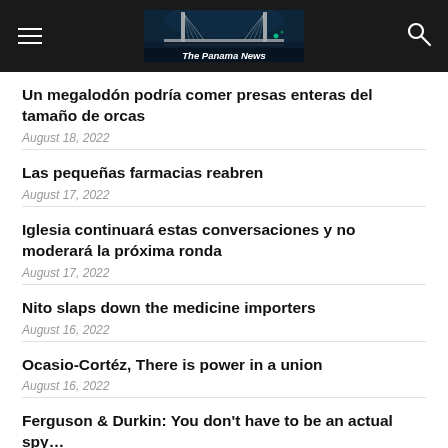The Panama News
Un megalodón podría comer presas enteras del tamaño de orcas
August 18, 2022
Las pequeñas farmacias reabren
August 17, 2022
Iglesia continuará estas conversaciones y no moderará la próxima ronda
August 17, 2022
Nito slaps down the medicine importers
August 16, 2022
Ocasio-Cortéz, There is power in a union
August 16, 2022
Ferguson & Durkin: You don't have to be an actual spy…